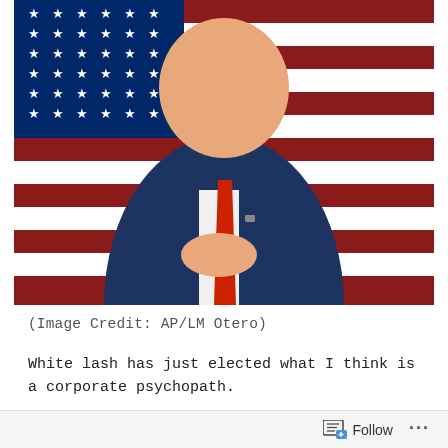[Figure (photo): Photo of a man in a dark blue suit with a red tie, standing in front of an American flag with stars and stripes. He appears to be clasping his hands in front of him.]
(Image Credit: AP/LM Otero)
White lash has just elected what I think is a corporate psychopath.
Donald Trump is going to destroy parts of society